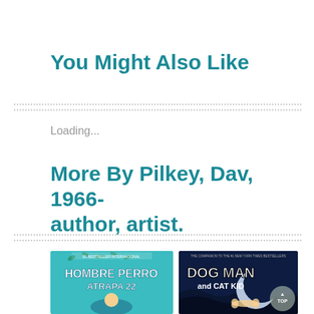You Might Also Like
Loading...
More By Pilkey, Dav, 1966- author, artist.
[Figure (photo): Book cover: Hombre Perro Atrapa 22 - colorful comic book style cover showing a dog-man character with a net catching fish-like creatures on a teal/green background]
[Figure (photo): Book cover: Dog Man and Cat Kid - comic book style cover showing Dog Man and Cat Kid characters on a dark blue background with a moon, includes 'The Companion to the #1 New York Times Bestsellers' text at top]